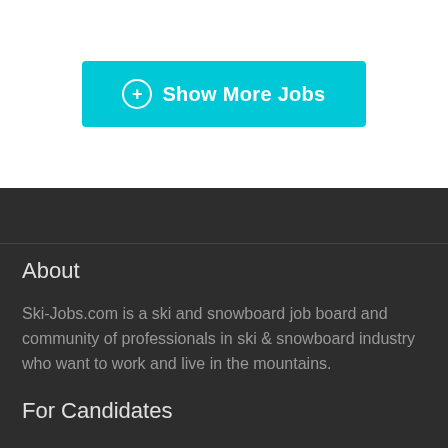[Figure (other): Cyan/turquoise button labeled 'Show More Jobs' with a circle-plus icon on the left, white text on cyan background]
About
Ski-Jobs.com is a ski and snowboard job board and community of professionals in ski & snowboard industry who want to work and live in the mountains.
For Candidates